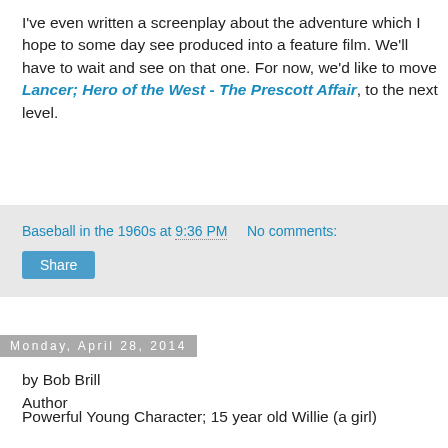I've even written a screenplay about the adventure which I hope to some day see produced into a feature film. We'll have to wait and see on that one. For now, we'd like to move Lancer; Hero of the West - The Prescott Affair, to the next level.
Baseball in the 1960s at 9:36 PM    No comments:
Share
Monday, April 28, 2014
by Bob Brill
Author
Powerful Young Character; 15 year old Willie (a girl)
That's right, young Willie (short for Wilamena) plays a very important role in Lancer; Hero of the West - The Prescott Affair." At first this girl, who lost her father somewhere along